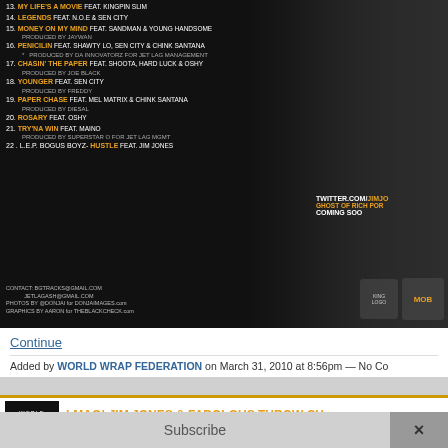[Figure (photo): Album tracklist on dark background with tiger/cat image on right side. Shows tracks 14-22 with artist names in gold and feature/production credits in white/grey text. Right side shows TWITTER.COM/JIMJO, GHOST OF RICH POR text in gold, COMING SOO in white, and two logo emblems.]
Continue
Added by WORLD WRAP FEDERATION on March 31, 2010 at 8:56pm — No Co...
[Figure (logo): World Wrap Federation logo - black background with WORLD WRAP in stylized text and FEDERATION.COM below]
LMAO! JIM JONES & FABOLOUS THROW CH... TWITTER SHOTS!
Subscribe
×